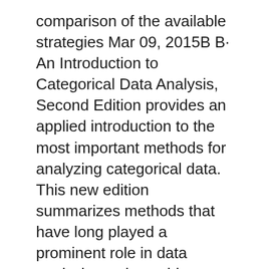comparison of the available strategies Mar 09, 2015В В· An Introduction to Categorical Data Analysis, Second Edition provides an applied introduction to the most important methods for analyzing categorical data. This new edition summarizes methods that have long played a prominent role in data analysis, such as chi-squared tests, and also places special emphasis on logistic regression and other modeling techniques for univariate and вЂ¦
introduction to categorical data analysis, 2nd ed. an introduction to categorical data analysis Categorical Data Analysis Agresti Solutions PDF - Student Solutions Manual for Statistical